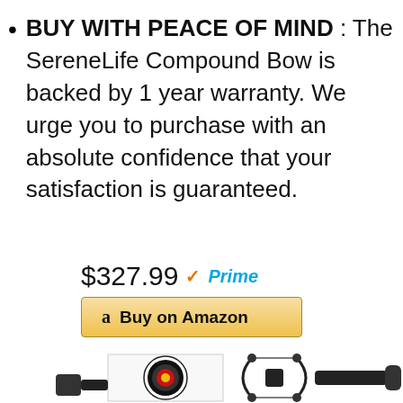BUY WITH PEACE OF MIND : The SereneLife Compound Bow is backed by 1 year warranty. We urge you to purchase with an absolute confidence that your satisfaction is guaranteed.
$327.99 Prime
Buy on Amazon
[Figure (photo): Product image of SereneLife Compound Bow with archery target and bow components laid out]